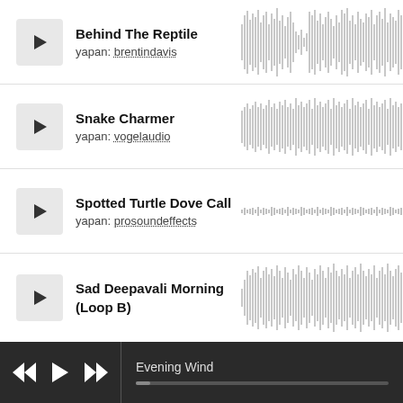[Figure (other): Audio track list item: Behind The Reptile by brentindavis with play button and waveform]
[Figure (other): Audio track list item: Snake Charmer by vogelaudio with play button and waveform]
[Figure (other): Audio track list item: Spotted Turtle Dove Call by prosoundeffects with play button and sparse waveform]
[Figure (other): Audio track list item: Sad Deepavali Morning (Loop B) with play button and waveform]
[Figure (other): Media player bar showing Evening Wind track with rewind, play, fast-forward controls and progress bar]